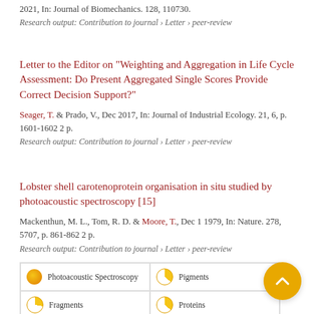2021, In: Journal of Biomechanics. 128, 110730.
Research output: Contribution to journal › Letter › peer-review
Letter to the Editor on “Weighting and Aggregation in Life Cycle Assessment: Do Present Aggregated Single Scores Provide Correct Decision Support?”
Seager, T. & Prado, V., Dec 2017, In: Journal of Industrial Ecology. 21, 6, p. 1601-1602 2 p.
Research output: Contribution to journal › Letter › peer-review
Lobster shell carotenoprotein organisation in situ studied by photoacoustic spectroscopy [15]
Mackenthun, M. L., Tom, R. D. & Moore, T., Dec 1 1979, In: Nature. 278, 5707, p. 861-862 2 p.
Research output: Contribution to journal › Letter › peer-review
Photoacoustic Spectroscopy
Pigments
Fragments
Proteins
Calcification